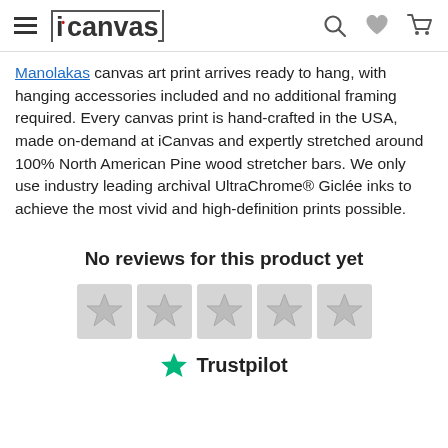iCanvas
Manolakas canvas art print arrives ready to hang, with hanging accessories included and no additional framing required. Every canvas print is hand-crafted in the USA, made on-demand at iCanvas and expertly stretched around 100% North American Pine wood stretcher bars. We only use industry leading archival UltraChrome® Giclée inks to achieve the most vivid and high-definition prints possible.
No reviews for this product yet
[Figure (other): Five empty/grey star rating icons indicating no reviews, followed by Trustpilot logo with green star and Trustpilot text]